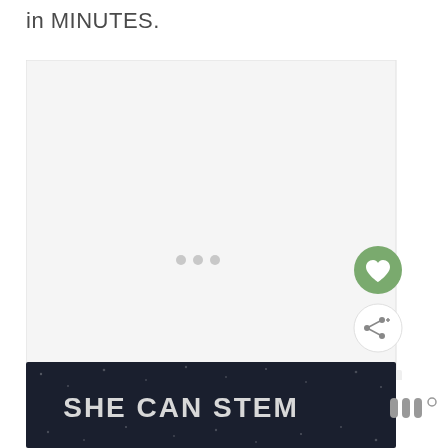in MINUTES.
[Figure (other): Large light gray placeholder image area with three small gray dots centered at the bottom, indicating an image carousel or loading state. On the right side are UI action buttons: a green heart/favorite button, a white share button, and a gray arrow/scroll-up button.]
[Figure (other): Dark navy banner with the text SHE CAN STEM in bold white/light gray letters with scattered dot texture in the background.]